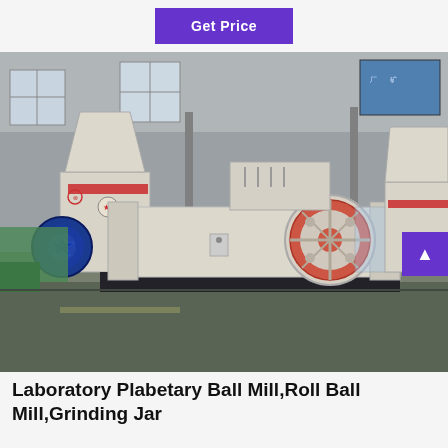Get Price
[Figure (photo): Industrial factory floor showing large beige/cream colored heavy machinery including ball mills and cone crushers. A prominent blue motor is visible on the left side of a horizontal roller/ball mill machine in the foreground. The factory hall has high ceilings with natural light from windows.]
Laboratory Plabetary Ball Mill,Roll Ball Mill,Grinding Jar